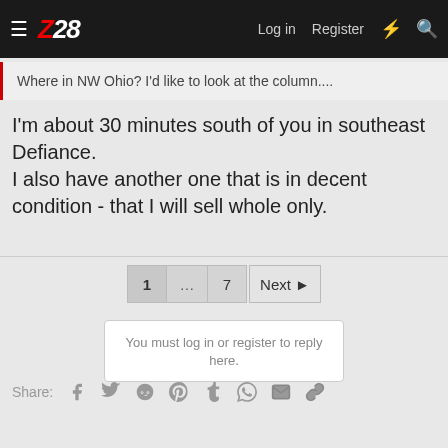Z28 — Log in  Register
Where in NW Ohio? I'd like to look at the column....
I'm about 30 minutes south of you in southeast Defiance. I also have another one that is in decent condition - that I will sell whole only.
1 ... 7  Next ▶
You must log in or register to reply here.
Share: